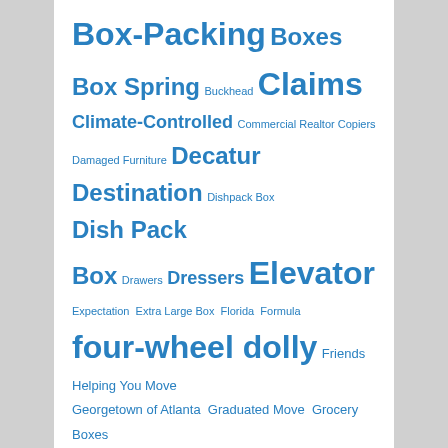Box-Packing Boxes Box Spring Buckhead Claims Climate-Controlled Commercial Realtor Copiers Damaged Furniture Decatur Destination Dishpack Box Dish Pack Box Drawers Dressers Elevator Expectation Extra Large Box Florida Formula four-wheel dolly Friends Helping You Move Georgetown of Atlanta Graduated Move Grocery Boxes Handholding Hard Factors hardwood High-Rise high-value Ice House Lofts Impressing Friends Independent Living insurance Kitchen lamp Large Box Little Five Points mattress McGregor Moving McGregor Moving & Storage Medium Box Moving Company moving truck Paintings